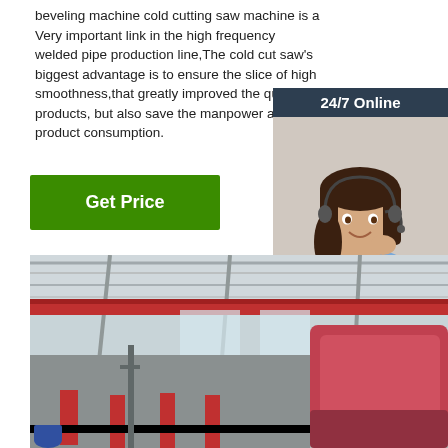beveling machine cold cutting saw machine is a Very important link in the high frequency welded pipe production line,The cold cut saw's biggest advantage is to ensure the slice of high smoothness,that greatly improved the quality of products, but also save the manpower and product consumption.
[Figure (infographic): 24/7 Online chat widget with photo of female customer service representative wearing headset, dark navy background, orange QUOTATION button]
[Figure (photo): Factory interior showing industrial manufacturing floor with red overhead crane, steel structure roof, and red cold cutting saw machine equipment]
Get Price
Click here for free chat !
QUOTATION